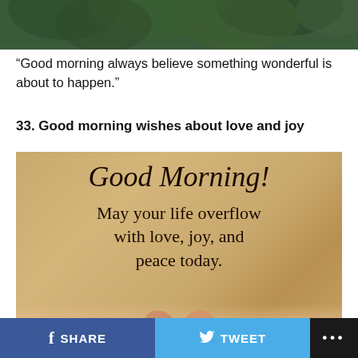[Figure (photo): Top portion of a photo showing dark green leaves/foliage background, partially cropped]
“Good morning always believe something wonderful is about to happen.”
33. Good morning wishes about love and joy
[Figure (illustration): Greeting card with tan/gold background showing cursive text 'Good Morning!' and below it 'May your life overflow with love, joy, and peace today.' with hands visible at the bottom]
SHARE   TWEET   ...